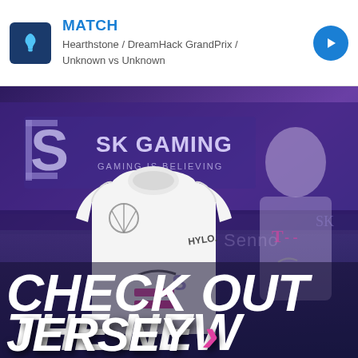MATCH
Hearthstone / DreamHack GrandPrix /
Unknown vs Unknown
[Figure (photo): SK Gaming esports advertisement image with purple-blue tinted background showing an esports player wearing white jersey, SK Gaming branding logo visible, white jersey with Mercedes, HYLO, Nike and SK Gaming logos prominently displayed in foreground]
CHECK OUT THE NEW JERSEY >